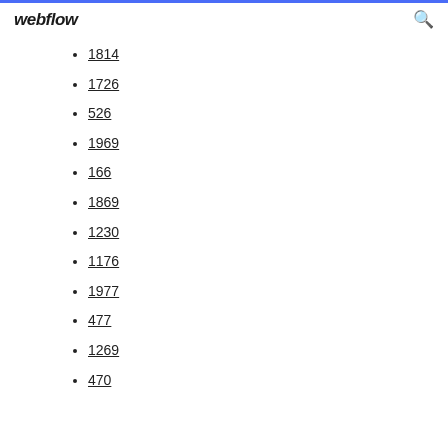webflow
1814
1726
526
1969
166
1869
1230
1176
1977
477
1269
470